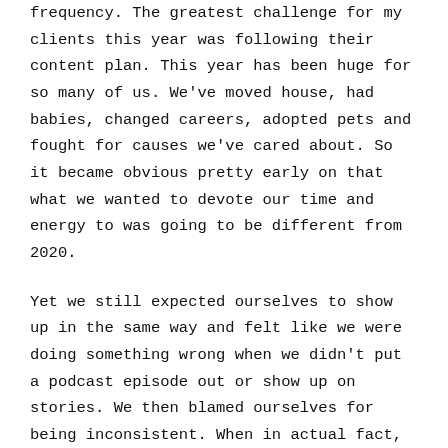frequency. The greatest challenge for my clients this year was following their content plan. This year has been huge for so many of us. We've moved house, had babies, changed careers, adopted pets and fought for causes we've cared about. So it became obvious pretty early on that what we wanted to devote our time and energy to was going to be different from 2020.
Yet we still expected ourselves to show up in the same way and felt like we were doing something wrong when we didn't put a podcast episode out or show up on stories. We then blamed ourselves for being inconsistent. When in actual fact, the problem was frequency.
Consistency is behaving or performing in a similar way. It's not about quantity. And many of my